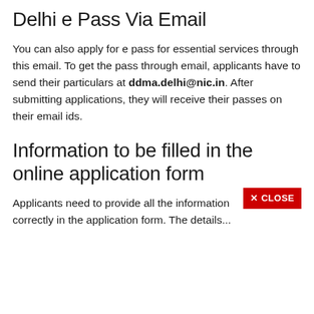Delhi e Pass Via Email
You can also apply for e pass for essential services through this email. To get the pass through email, applicants have to send their particulars at ddma.delhi@nic.in. After submitting applications, they will receive their passes on their email ids.
Information to be filled in the online application form
Applicants need to provide all the information correctly in the application form. The details...